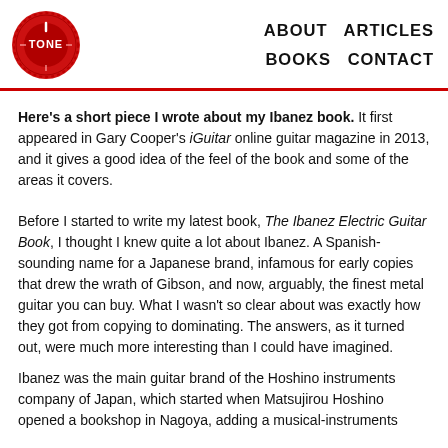TONE logo | ABOUT  ARTICLES  BOOKS  CONTACT
Here's a short piece I wrote about my Ibanez book. It first appeared in Gary Cooper's iGuitar online guitar magazine in 2013, and it gives a good idea of the feel of the book and some of the areas it covers.
Before I started to write my latest book, The Ibanez Electric Guitar Book, I thought I knew quite a lot about Ibanez. A Spanish-sounding name for a Japanese brand, infamous for early copies that drew the wrath of Gibson, and now, arguably, the finest metal guitar you can buy. What I wasn't so clear about was exactly how they got from copying to dominating. The answers, as it turned out, were much more interesting than I could have imagined.
Ibanez was the main guitar brand of the Hoshino instruments company of Japan, which started when Matsujirou Hoshino opened a bookshop in Nagoya, adding a musical-instruments